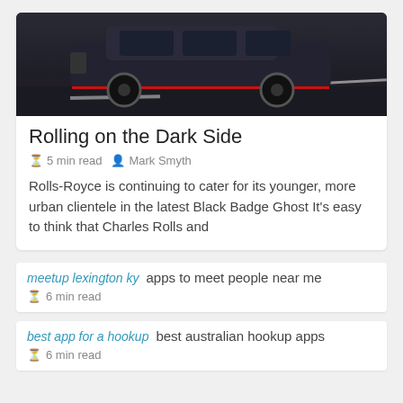[Figure (photo): Dark luxury car (Rolls-Royce Black Badge Ghost) on a dark road with red accent lighting]
Rolling on the Dark Side
⏳ 5 min read  👤 Mark Smyth
Rolls-Royce is continuing to cater for its younger, more urban clientele in the latest Black Badge Ghost It's easy to think that Charles Rolls and
meetup lexington ky   apps to meet people near me
⏳ 6 min read
best app for a hookup   best australian hookup apps
⏳ 6 min read